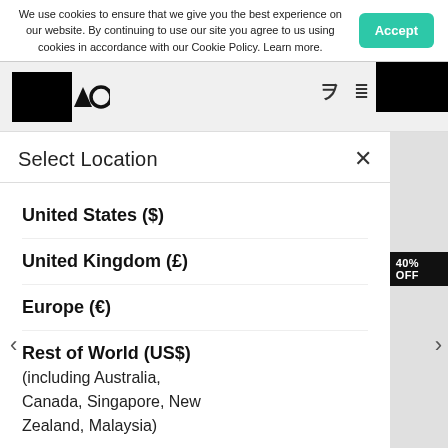We use cookies to ensure that we give you the best experience on our website. By continuing to use our site you agree to us using cookies in accordance with our Cookie Policy. Learn more.
Accept
Select Location
United States ($)
United Kingdom (£)
Europe (€)
Rest of World (US$)
(including Australia, Canada, Singapore, New Zealand, Malaysia)
40% OFF